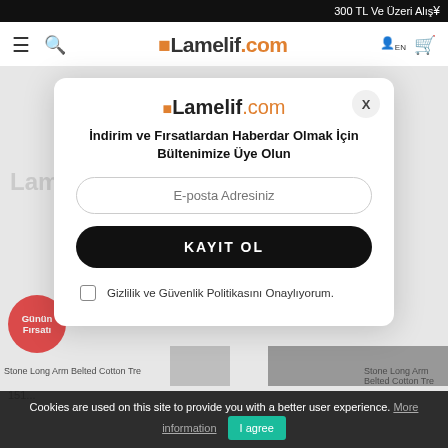300 TL Ve Üzeri Alış
[Figure (screenshot): Lamelif.com e-commerce website navigation bar with hamburger menu, search icon, logo, language selector EN, and cart icon]
[Figure (screenshot): Newsletter subscription modal popup on Lamelif.com with logo, title 'İndirim ve Fırsatlardan Haberdar Olmak İçin Bültenimize Üye Olun', email input, KAYIT OL button, and privacy policy checkbox. Background shows product listing page with Günün Fırsatı badge and Stone Long Arm Belted Cotton Tre products.]
Cookies are used on this site to provide you with a better user experience. More information  I agree